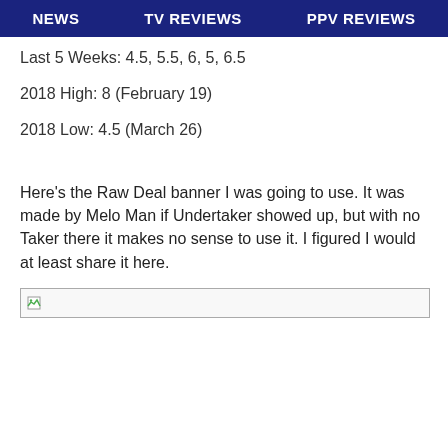NEWS   TV REVIEWS   PPV REVIEWS
Last 5 Weeks: 4.5, 5.5, 6, 5, 6.5
2018 High: 8 (February 19)
2018 Low: 4.5 (March 26)
Here's the Raw Deal banner I was going to use. It was made by Melo Man if Undertaker showed up, but with no Taker there it makes no sense to use it. I figured I would at least share it here.
[Figure (photo): Broken/missing image placeholder]